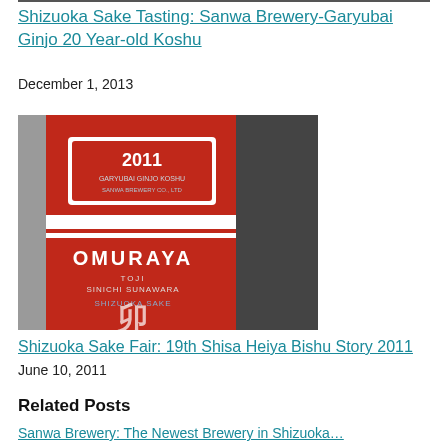Shizuoka Sake Tasting: Sanwa Brewery-Garyubai Ginjo 20 Year-old Koshu
December 1, 2013
[Figure (photo): Close-up photo of a red sake bottle label reading '2011' at the top and 'OMURAYA' in the middle with 'TOJI SINICHI SUNAWARA' below, and Japanese characters at the bottom.]
Shizuoka Sake Fair: 19th Shisa Heiya Bishu Story 2011
June 10, 2011
Related Posts
Sanwa Brewery: The Newest Brewery in Shizuoka…